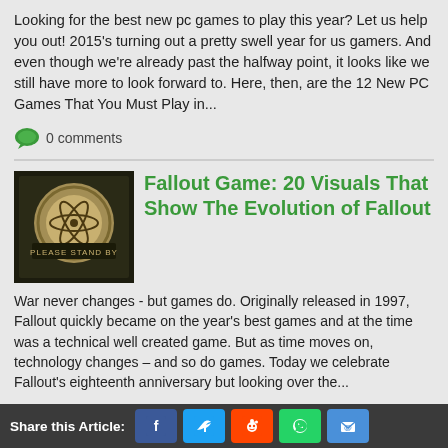Looking for the best new pc games to play this year? Let us help you out! 2015's turning out a pretty swell year for us gamers. And even though we're already past the halfway point, it looks like we still have more to look forward to. Here, then, are the 12 New PC Games That You Must Play in...
0 comments
[Figure (photo): Fallout 'Please Stand By' screen showing atomic symbol on old TV]
Fallout Game: 20 Visuals That Show The Evolution of Fallout
War never changes - but games do. Originally released in 1997, Fallout quickly became on the year's best games and at the time was a technical well created game. But as time moves on, technology changes – and so do games. Today we celebrate Fallout's eighteenth anniversary but looking over the...
0 comments
[Figure (photo): Hitman character in suit with red tie against pink/red background]
[Top 10] Sandbox Games With Good
Share this Article: